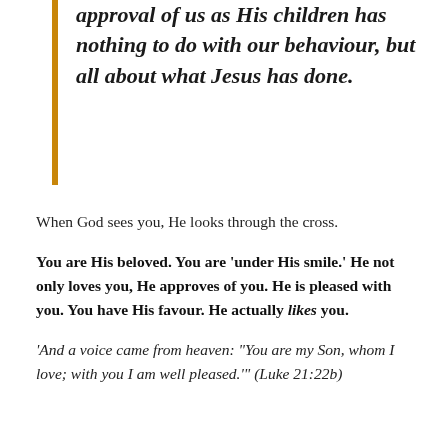approval of us as His children has nothing to do with our behaviour, but all about what Jesus has done.
When God sees you, He looks through the cross.
You are His beloved. You are 'under His smile.' He not only loves you, He approves of you. He is pleased with you. You have His favour. He actually likes you.
'And a voice came from heaven: "You are my Son, whom I love; with you I am well pleased.'" (Luke 21:22b)